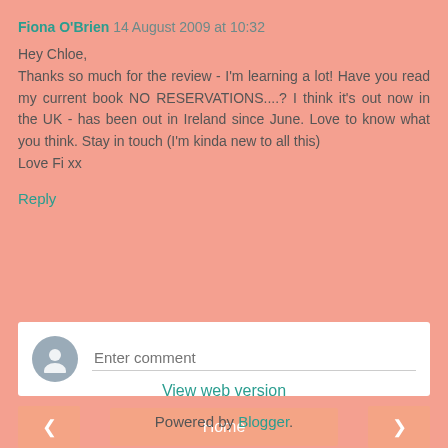Fiona O'Brien 14 August 2009 at 10:32
Hey Chloe,
Thanks so much for the review - I'm learning a lot! Have you read my current book NO RESERVATIONS....? I think it's out now in the UK - has been out in Ireland since June. Love to know what you think. Stay in touch (I'm kinda new to all this)
Love Fi xx
Reply
[Figure (other): Comment entry box with user avatar and placeholder text 'Enter comment']
< Home >
View web version
Powered by Blogger.